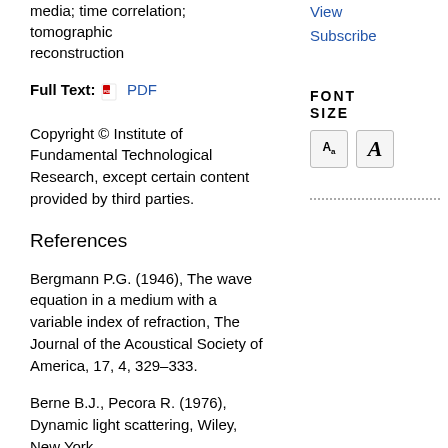scattering, random media; time correlation; tomographic reconstruction
Full Text: PDF
View
Subscribe
Copyright © Institute of Fundamental Technological Research, except certain content provided by third parties.
FONT SIZE
References
Bergmann P.G. (1946), The wave equation in a medium with a variable index of refraction, The Journal of the Acoustical Society of America, 17, 4, 329–333.
Berne B.J., Pecora R. (1976), Dynamic light scattering, Wiley, New York.
Carminati R., Elaloufi R., Greffet J.-J. (2004), Beyond the diffusing-wave spectroscopy model for the temporal fluctuations of scattered light, Physical Review Letters, 92, 21, 213903.
Cerbino R., Trappe V. (2008), Differential dynamic microscopy...